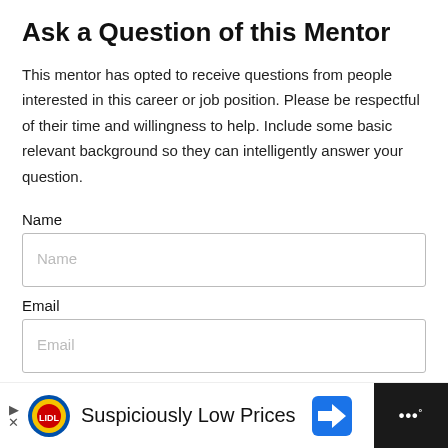Ask a Question of this Mentor
This mentor has opted to receive questions from people interested in this career or job position. Please be respectful of their time and willingness to help. Include some basic relevant background so they can intelligently answer your question.
Name
Email
Question
[Figure (screenshot): Lidl advertisement banner: 'Suspiciously Low Prices' with Lidl logo and navigation arrow icon, dark panel on right with Waze-style dots icon]